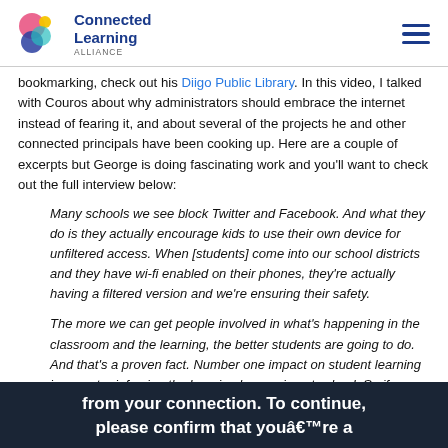Connected Learning Alliance
bookmarking, check out his Diigo Public Library. In this video, I talked with Couros about why administrators should embrace the internet instead of fearing it, and about several of the projects he and other connected principals have been cooking up. Here are a couple of excerpts but George is doing fascinating work and you'll want to check out the full interview below:
Many schools we see block Twitter and Facebook. And what they do is they actually encourage kids to use their own device for unfiltered access. When [students] come into our school districts and they have wi-fi enabled on their phones, they're actually having a filtered version and we're ensuring their safety.
The more we can get people involved in what's happening in the classroom and the learning, the better students are going to do. And that's a proven fact. Number one impact on student learning is parent reinforcing the learning happening at school. So if we can open that window through blogging, Twitter, Facebook — that's what we want to do.
from your connection. To continue, please confirm that you're a